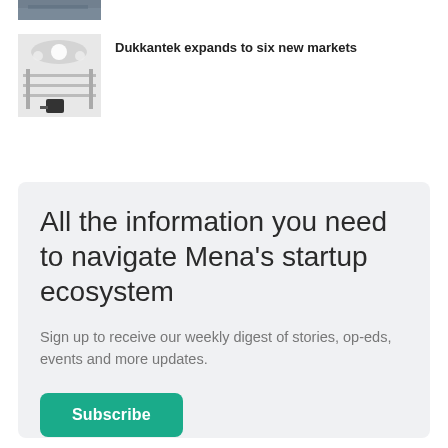[Figure (photo): Partial top image thumbnail, cropped at the top of the page]
[Figure (photo): Thumbnail image showing ceiling lights and store shelving/equipment]
Dukkantek expands to six new markets
All the information you need to navigate Mena's startup ecosystem
Sign up to receive our weekly digest of stories, op-eds, events and more updates.
Subscribe